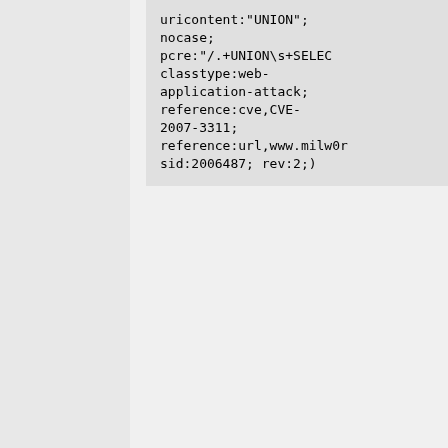uricontent:"UNION"; nocase; pcre:"/.+UNION\s+SELECT classtype:web-application-attack; reference:cve,CVE-2007-3311; reference:url,www.milw0r sid:2006487; rev:2;)
Added 2007-08-15 01:16:21 UTC
alert tcp $EXTERNAL_NET any -> $HTTP_SERVERS $HTTP_PORTS (msg:"BLEEDING-EDGE WEB Xoops